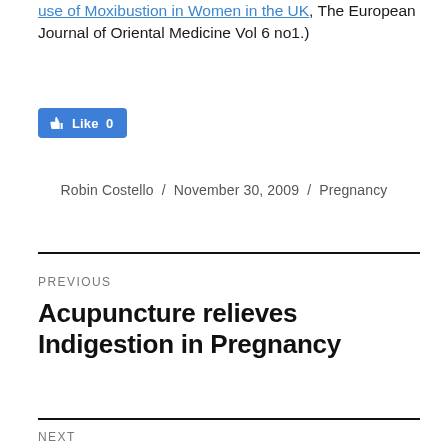use of Moxibustion in Women in the UK, The European Journal of Oriental Medicine Vol 6 no1.)
[Figure (other): Facebook Like button showing 0 likes]
Robin Costello / November 30, 2009 / Pregnancy
PREVIOUS
Acupuncture relieves Indigestion in Pregnancy
NEXT